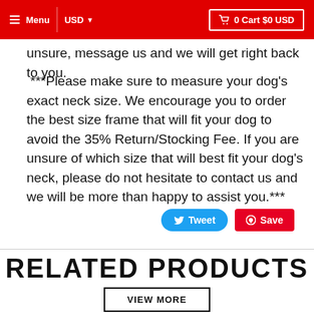Menu  USD  0 Cart $0 USD
unsure, message us and we will get right back to you.
***Please make sure to measure your dog's exact neck size. We encourage you to order the best size frame that will fit your dog to avoid the 35% Return/Stocking Fee. If you are unsure of which size that will best fit your dog's neck, please do not hesitate to contact us and we will be more than happy to assist you.***
[Figure (screenshot): Tweet and Save social sharing buttons]
RELATED PRODUCTS
VIEW MORE